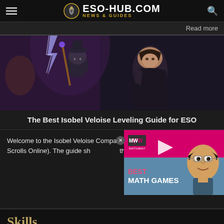ESO-HUB.COM NEWS & GUIDES
Read more
[Figure (screenshot): Hero banner showing two ESO game characters — a Khajiit mage with lightning and a human female companion — in a dark fantasy setting]
The Best Isobel Veloise Leveling Guide for ESO
Welcome to the Isobel Veloise Companion leveling guide for ESO (Elder Scrolls Online). The guide sh... the leveling process with Isobel.
[Figure (screenshot): Advertisement overlay showing MathWay (MW) logo in pink, a play button, a cartoon character of a man with glasses, and text reading BEST MATH GAMES]
Skills